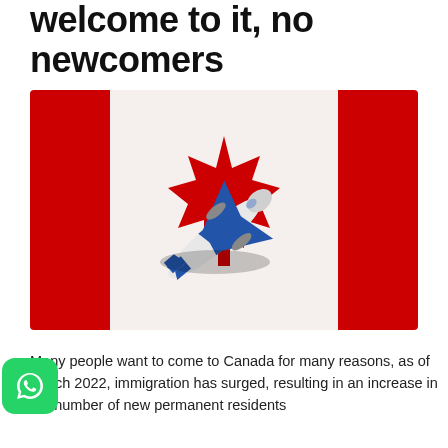welcome to it, no newcomers
[Figure (photo): Aerial view of a model airplane (blue and white) placed on top of a Canadian flag, showing the red maple leaf and red side panels.]
Many people want to come to Canada for many reasons, as of March 2022, immigration has surged, resulting in an increase in the number of new permanent residents